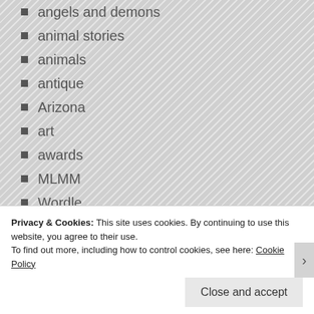angels and demons
animal stories
animals
antique
Arizona
art
awards
MLMM
Wordle
beach
big brother
blogging 101
Blogging university
Camera Lucida
cats
Privacy & Cookies: This site uses cookies. By continuing to use this website, you agree to their use.
To find out more, including how to control cookies, see here: Cookie Policy
Close and accept